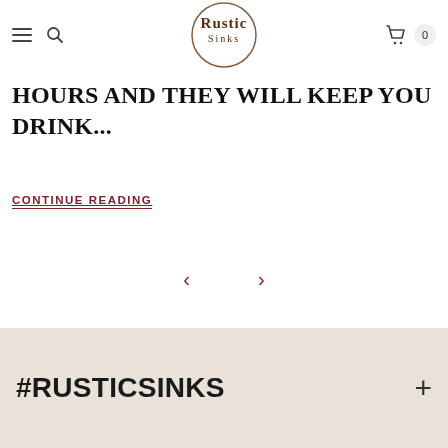Rustic Sinks (logo, navigation with hamburger menu, search, cart with 0 items)
HOURS AND THEY WILL KEEP YOU DRINK...
CONTINUE READING
[Figure (other): Navigation arrows: left chevron and right chevron for carousel pagination]
#RUSTICSINKS